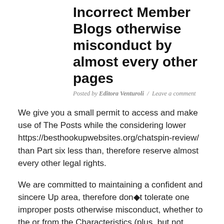Incorrect Member Blogs otherwise misconduct by almost every other pages
Posted by Editora Venturoli / Leave a comment
We give you a small permit to access and make use of The Posts while the considering lower https://besthookupwebsites.org/chatspin-review/ than Part six less than, therefore reserve almost every other legal rights.
We are committed to maintaining a confident and sincere Up area, therefore don◆t tolerate one improper posts otherwise misconduct, whether to the or from the Characteristics (plus, but not restricted to, on the features work because of the our affiliates). You could statement a user yourself from the ◆Report◆ hook to your a beneficial customer's character. You are able to current email address Up Support service because of the pressing right